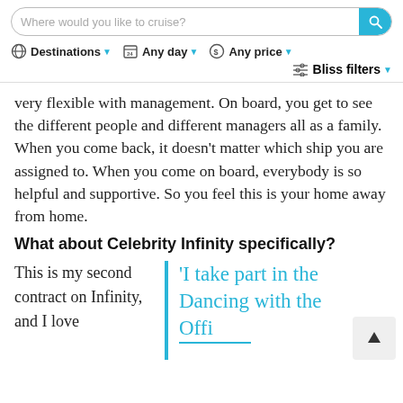[Figure (screenshot): Website navigation bar with search box 'Where would you like to cruise?', Destinations dropdown, Any day dropdown, Any price dropdown, and Bliss filters dropdown]
very flexible with management. On board, you get to see the different people and different managers all as a family. When you come back, it doesn't matter which ship you are assigned to. When you come on board, everybody is so helpful and supportive. So you feel this is your home away from home.
What about Celebrity Infinity specifically?
This is my second contract on Infinity, and I love
'I take part in the Dancing with the Offi... competi...